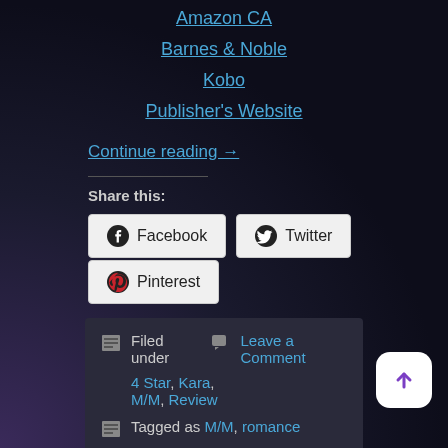Amazon CA
Barnes & Noble
Kobo
Publisher's Website
Continue reading →
Share this:
Facebook
Twitter
Pinterest
Filed under   Leave a Comment 4 Star, Kara, M/M, Review
Tagged as M/M, romance
BY INKEDRAINBOWREVIEWS | AUGUST 29,